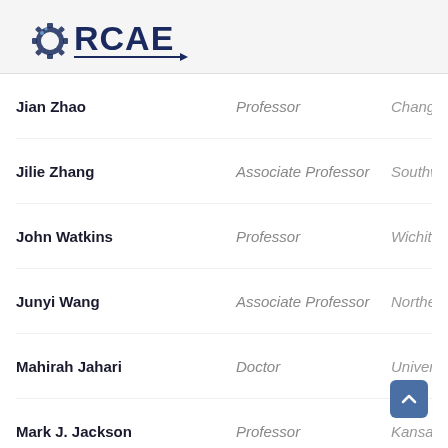ORCAE
Jian Zhao | Professor | Changch...
Jilie Zhang | Associate Professor | Southwe...
John Watkins | Professor | Wichita S...
Junyi Wang | Associate Professor | Northeas...
Mahirah Jahari | Doctor | Universit...
Mark J. Jackson | Professor | Kansas S...
Mohamed Arezki Mellal | Professor | M'Hame...
Ning Yang | Doctor | Southern...
Rui Yang | Doctor | Xi'an Jiae...